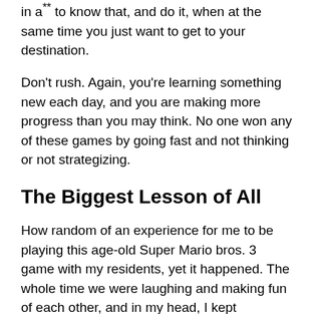in a** to know that, and do it, when at the same time you just want to get to your destination.
Don't rush. Again, you're learning something new each day, and you are making more progress than you may think. No one won any of these games by going fast and not thinking or not strategizing.
The Biggest Lesson of All
How random of an experience for me to be playing this age-old Super Mario bros. 3 game with my residents, yet it happened. The whole time we were laughing and making fun of each other, and in my head, I kept correlating what I was doing with what life is all about.